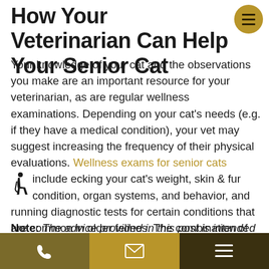How Your Veterinarian Can Help Your Senior Cat
Your knowledge of your cat and the observations you make are an important resource for your veterinarian, as are regular wellness examinations. Depending on your cat's needs (e.g. if they have a medical condition), your vet may suggest increasing the frequency of their physical evaluations. Wellness exams for senior cats include checking your cat's weight, skin & fur condition, organ systems, and behavior, and running diagnostic tests for certain conditions that are common in older felines. The combination of homecare and cooperative veterinary care is a great way to help ensure your senior cat has a healthy and happy life with you and your family.
Note: The advice provided in this post is intended for informational purposes and does not constitute medical advice...